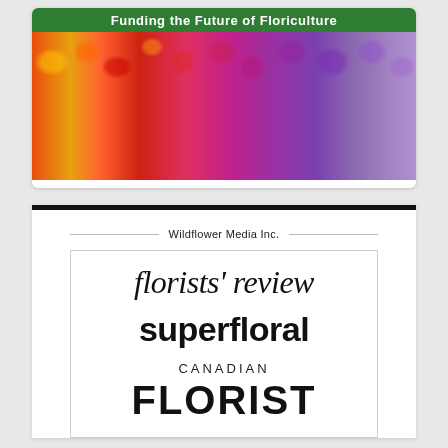[Figure (illustration): Top card with green banner reading 'Funding the Future of Floriculture' above a colorful photo of mixed flowers spanning orange, red, pink, and purple tones.]
[Figure (logo): Wildflower Media Inc. logo card with decorative lines, containing publication names: florists' review, superfloral, CANADIAN FLORIST]